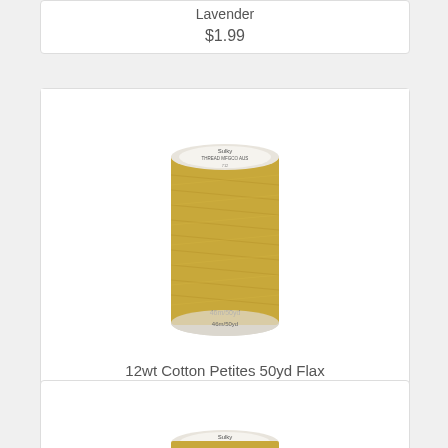Lavender
$1.99
[Figure (photo): Spool of golden/flax colored 12wt Cotton Petites thread, 50yd, on white background]
12wt Cotton Petites 50yd Flax
$1.99
[Figure (photo): Partial view of another spool of thread at the bottom of the page]